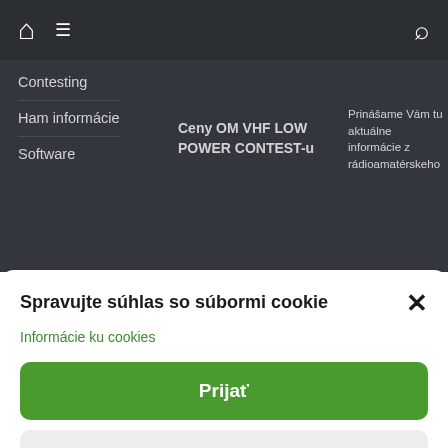Home | Menu | Search
Contesting
Ham informácie
Software
Ceny OM VHF LOW POWER CONTEST-u
Prinášame Vám tu aktuálne informácie z rádioamatérskeho
Spravujte súhlas so súbormi cookie
Informácie ku cookies
Prijať
Odmietnúť
Zobraziť predvoľby
Zásady používania súborov cookie